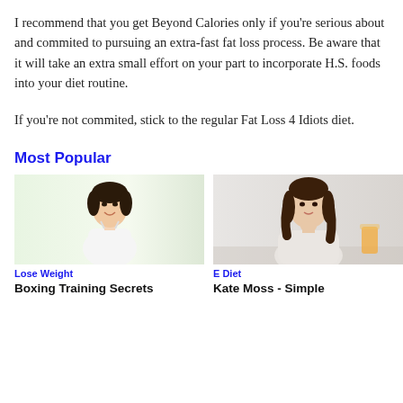I recommend that you get Beyond Calories only if you're serious about and commited to pursuing an extra-fast fat loss process. Be aware that it will take an extra small effort on your part to incorporate H.S. foods into your diet routine.
If you're not commited, stick to the regular Fat Loss 4 Idiots diet.
Most Popular
[Figure (photo): Young Asian woman smiling, wearing white tank top, light green background]
Lose Weight
Boxing Training Secrets
[Figure (photo): Young brunette woman smiling, resting chin on hand, light background with orange juice]
E Diet
Kate Moss - Simple